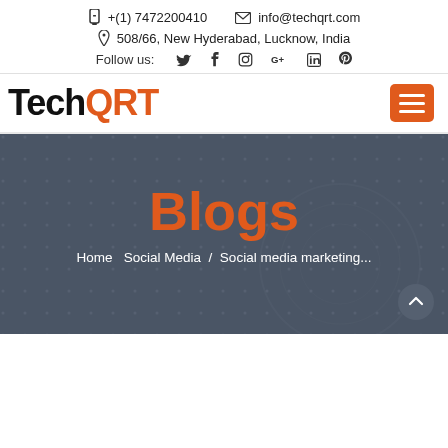+(1) 7472200410  info@techqrt.com  508/66, New Hyderabad, Lucknow, India  Follow us:
[Figure (logo): TechQRT logo with 'Tech' in black and 'QRT' in orange, bold sans-serif]
Blogs
Home  Social Media /  Social media marketing...